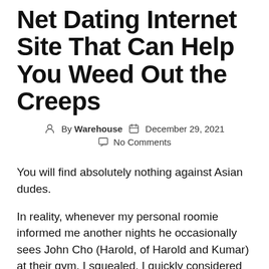Net Dating Internet Site That Can Help You Weed Out the Creeps
By Warehouse   December 29, 2021   No Comments
You will find absolutely nothing against Asian dudes.
In reality, whenever my personal roomie informed me another nights he occasionally sees John Cho (Harold, of Harold and Kumar) at their gym, I squealed. I quickly considered signing up for the gymnasium, but then I recalled I Googled Cho’s marital position plenty circumstances that I really learn off-hand he is unavailable.